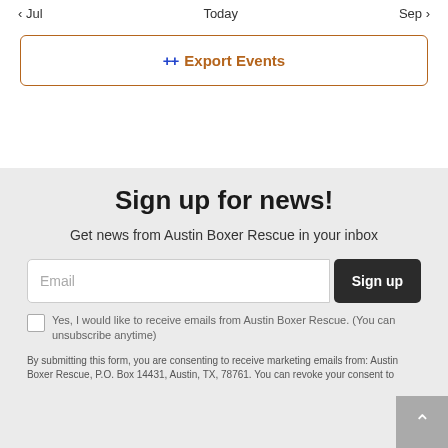< Jul   Today   Sep >
++ Export Events
Sign up for news!
Get news from Austin Boxer Rescue in your inbox
Email
Sign up
Yes, I would like to receive emails from Austin Boxer Rescue. (You can unsubscribe anytime)
By submitting this form, you are consenting to receive marketing emails from: Austin Boxer Rescue, P.O. Box 14431, Austin, TX, 78761. You can revoke your consent to